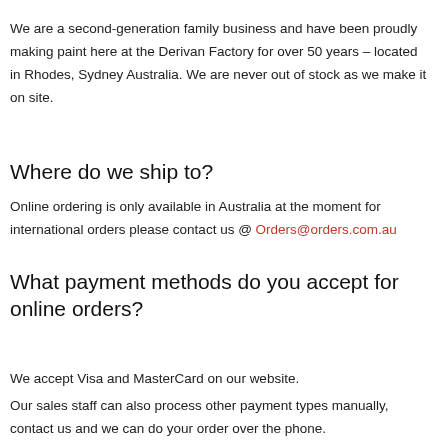We are a second-generation family business and have been proudly making paint here at the Derivan Factory for over 50 years – located in Rhodes, Sydney Australia. We are never out of stock as we make it on site.
Where do we ship to?
Online ordering is only available in Australia at the moment for international orders please contact us @ Orders@orders.com.au
What payment methods do you accept for online orders?
We accept Visa and MasterCard on our website.
Our sales staff can also process other payment types manually, contact us and we can do your order over the phone.